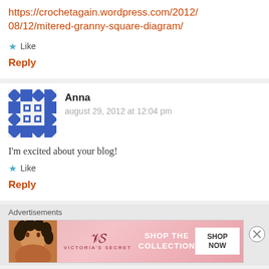https://crochetagain.wordpress.com/2012/08/12/mitered-granny-square-diagram/
Like
Reply
Anna
august 29, 2012 at 12:04 pm
I'm excited about your blog!
Like
Reply
Advertisements
[Figure (photo): Victoria's Secret advertisement banner with woman's photo, VS logo, and 'SHOP THE COLLECTION' text with 'SHOP NOW' button]